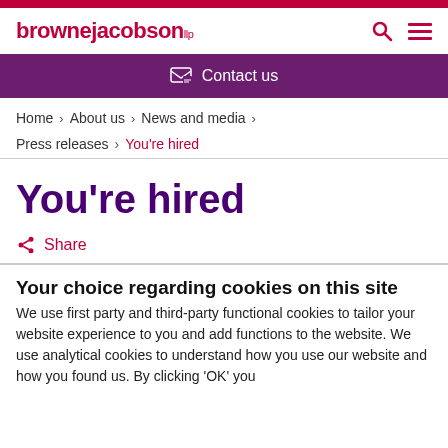brownejacobson llp — Contact us
Home > About us > News and media > Press releases > You're hired
You're hired
Share
Your choice regarding cookies on this site
We use first party and third-party functional cookies to tailor your website experience to you and add functions to the website. We use analytical cookies to understand how you use our website and how you found us. By clicking 'OK' you